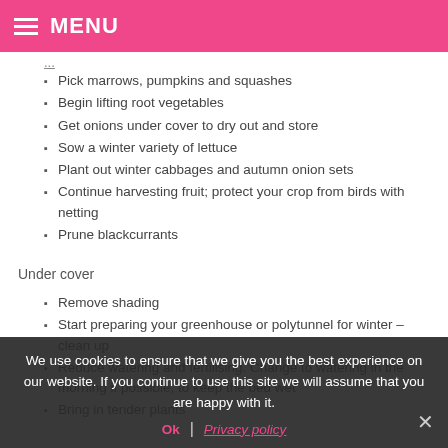MENU
Pick marrows, pumpkins and squashes
Begin lifting root vegetables
Get onions under cover to dry out and store
Sow a winter variety of lettuce
Plant out winter cabbages and autumn onion sets
Continue harvesting fruit; protect your crop from birds with netting
Prune blackcurrants
Under cover
Remove shading
Start preparing your greenhouse or polytunnel for winter – clean up
Reduce watering and fertilising. Change to watering in the morning if possible, to keep the bed wet
Bring in tender plants
We use cookies to ensure that we give you the best experience on our website. If you continue to use this site we will assume that you are happy with it.
Ok | Privacy policy